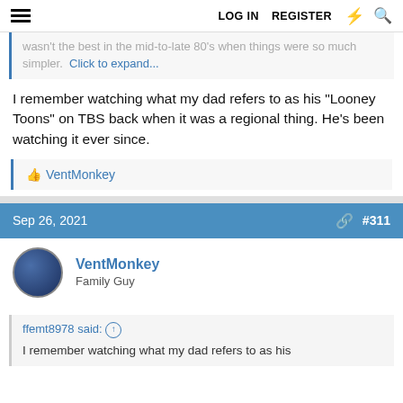LOG IN  REGISTER
wasn't the best in the mid-to-late 80's when things were so much simpler. Click to expand...
I remember watching what my dad refers to as his "Looney Toons" on TBS back when it was a regional thing. He's been watching it ever since.
VentMonkey
Sep 26, 2021  #311
VentMonkey
Family Guy
ffemt8978 said: ↑
I remember watching what my dad refers to as his